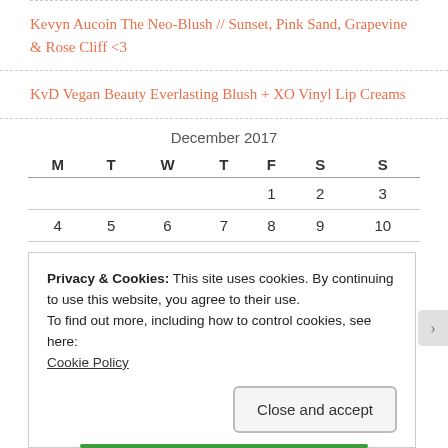Kevyn Aucoin The Neo-Blush // Sunset, Pink Sand, Grapevine & Rose Cliff <3
KvD Vegan Beauty Everlasting Blush + XO Vinyl Lip Creams
| M | T | W | T | F | S | S |
| --- | --- | --- | --- | --- | --- | --- |
|  |  |  |  | 1 | 2 | 3 |
| 4 | 5 | 6 | 7 | 8 | 9 | 10 |
Privacy & Cookies: This site uses cookies. By continuing to use this website, you agree to their use.
To find out more, including how to control cookies, see here: Cookie Policy